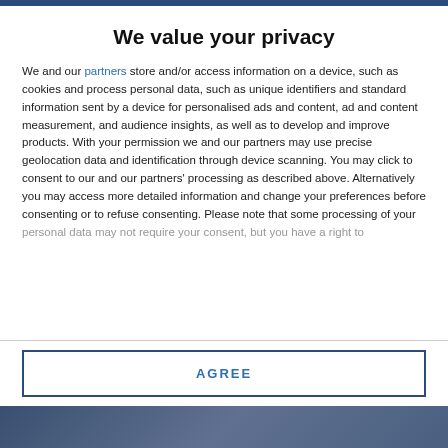We value your privacy
We and our partners store and/or access information on a device, such as cookies and process personal data, such as unique identifiers and standard information sent by a device for personalised ads and content, ad and content measurement, and audience insights, as well as to develop and improve products. With your permission we and our partners may use precise geolocation data and identification through device scanning. You may click to consent to our and our partners' processing as described above. Alternatively you may access more detailed information and change your preferences before consenting or to refuse consenting. Please note that some processing of your personal data may not require your consent, but you have a right to
AGREE
MORE OPTIONS
[Figure (photo): Bottom portion of a background image partially visible]